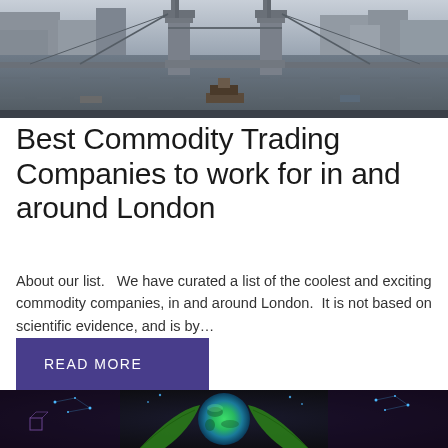[Figure (photo): Aerial view of Tower Bridge and the River Thames in London, with boats on the water and city buildings visible on both banks.]
Best Commodity Trading Companies to work for in and around London
About our list.   We have curated a list of the coolest and exciting commodity companies, in and around London.  It is not based on scientific evidence, and is by...
READ MORE
[Figure (photo): Dark background image showing a glowing green and blue globe Earth held by green leaves, with constellation-like blue dot patterns around it — representing global commodities or finance.]